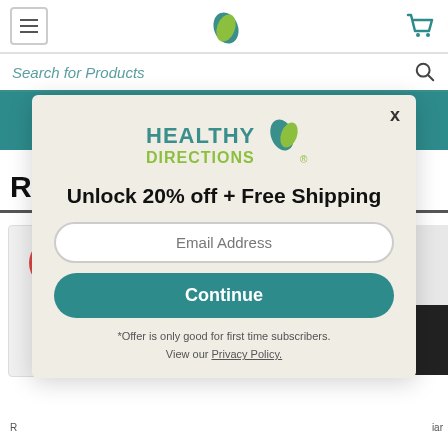Navigation bar with hamburger menu, Healthy Directions logo, and cart icon
Search for Products
Extra $10 off with REFILL & SAVE
Promo Code RS10 | Learn More
[Figure (screenshot): Modal popup with Healthy Directions logo, headline 'Unlock 20% off + Free Shipping', email address field, Continue button, and fine print about offer and privacy policy]
Unlock 20% off + Free Shipping
Email Address
Continue
*Offer is only good for first time subscribers.
View our Privacy Policy.